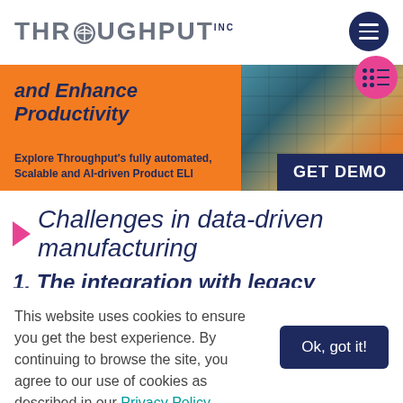[Figure (logo): ThroughPut Inc logo with stylized O containing a globe icon]
[Figure (infographic): Orange banner ad with text 'and Enhance Productivity', 'Explore Throughput's fully automated, Scalable and AI-driven Product ELI', a GET DEMO button, and shipping containers photo on the right]
Challenges in data-driven manufacturing
1. The integration with legacy systems
This website uses cookies to ensure you get the best experience. By continuing to browse the site, you agree to our use of cookies as described in our Privacy Policy.